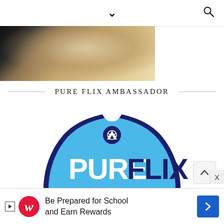▾  🔍
[Figure (photo): Partial view of a food photo showing a bowl with leafy salad on a wooden surface, with dark objects (laptop/book) on the left]
PURE FLIX AMBASSADOR
[Figure (logo): Pure Flix VIP Ambassador badge - blue shield/teardrop shaped badge with dark blue border, white 'PURE' and dark blue 'FLIX' text, 'VIP AMBASSADOR' text below, and a Pure Flix logo icon at top]
[Figure (other): Advertisement banner: Walgreens logo with 'Be Prepared for School and Earn Rewards' text and blue arrow button]